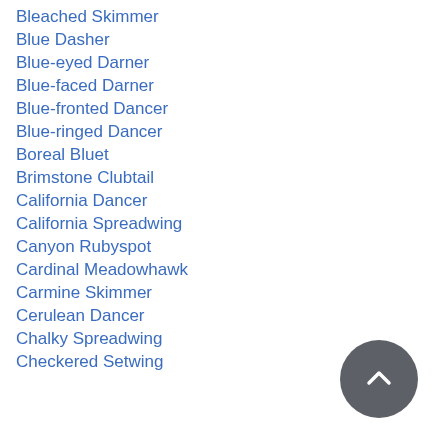Bleached Skimmer
Blue Dasher
Blue-eyed Darner
Blue-faced Darner
Blue-fronted Dancer
Blue-ringed Dancer
Boreal Bluet
Brimstone Clubtail
California Dancer
California Spreadwing
Canyon Rubyspot
Cardinal Meadowhawk
Carmine Skimmer
Cerulean Dancer
Chalky Spreadwing
Checkered Setwing
[Figure (other): Back to top navigation button, dark gray circle with upward-pointing chevron arrow]